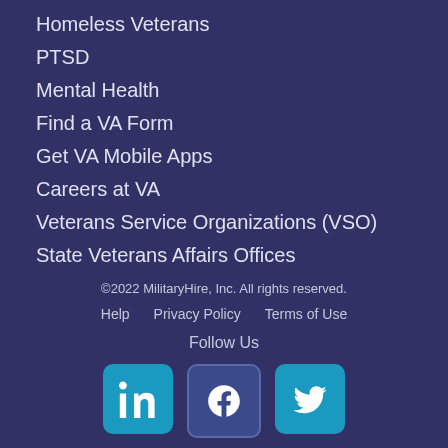Homeless Veterans
PTSD
Mental Health
Find a VA Form
Get VA Mobile Apps
Careers at VA
Veterans Service Organizations (VSO)
State Veterans Affairs Offices
©2022 MilitaryHire, Inc. All rights reserved.
Help   Privacy Policy   Terms of Use
Follow Us